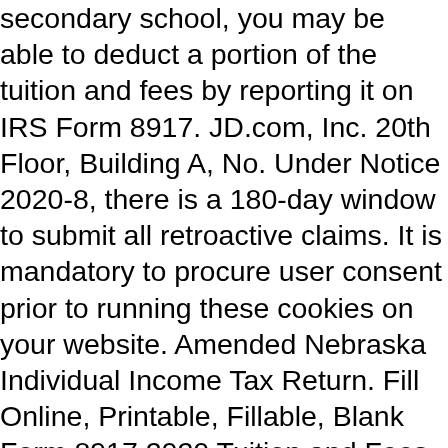secondary school, you may be able to deduct a portion of the tuition and fees by reporting it on IRS Form 8917. JD.com, Inc. 20th Floor, Building A, No. Under Notice 2020-8, there is a 180-day window to submit all retroactive claims. It is mandatory to procure user consent prior to running these cookies on your website. Amended Nebraska Individual Income Tax Return. Fill Online, Printable, Fillable, Blank Form 8917 2020 Tuition and Fees Deduction Form. Är det en dålig dag i backen eller är ni klara för dagen? However, the deduction is only available through the 2020 tax year. TurboTax CD/Download. I know that the IRS just recently updated the credit so it can be retroactively claimed in your 2018 tax return.. To receive this credit, you will need to amend your 2018 return. You claim the qualified electric vehicle credit (Form 8834), the personal use part of the alternative fuel vehicle refueling property credit (Form 8911), or the credit for prior year minimum tax (Form 8801). Formnext Connect is